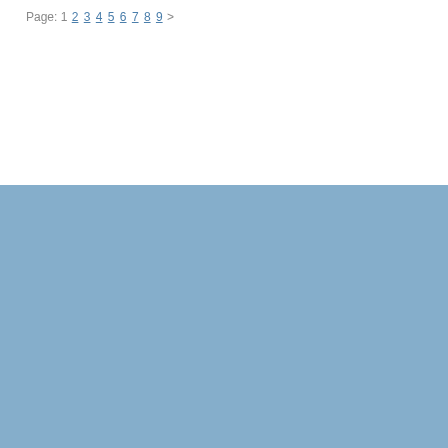Page: 1 2 3 4 5 6 7 8 9 >
[Figure (other): Solid light blue background block filling the lower half of the page]